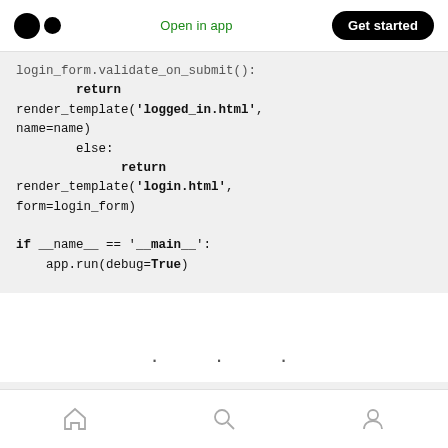Open in app | Get started
[Figure (screenshot): Code snippet showing Python Flask login route with render_template calls and if __name__ == '__main__': app.run(debug=True)]
. . .
Home | Search | Profile navigation icons